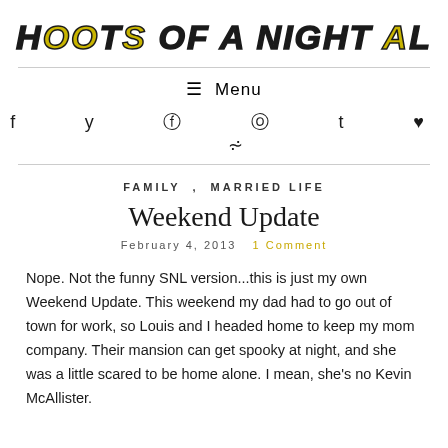HOOTS OF A NIGHT AL
≡ Menu
f  y  ⊕  ◎  t  ♥  ⌇
Family , Married Life
Weekend Update
February 4, 2013   1 Comment
Nope. Not the funny SNL version...this is just my own Weekend Update. This weekend my dad had to go out of town for work, so Louis and I headed home to keep my mom company. Their mansion can get spooky at night, and she was a little scared to be home alone. I mean, she's no Kevin McAllister.